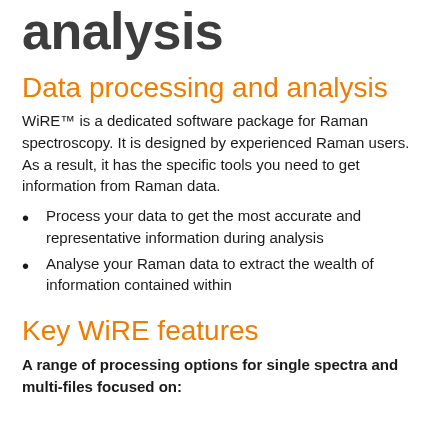analysis
Data processing and analysis
WiRE™ is a dedicated software package for Raman spectroscopy. It is designed by experienced Raman users. As a result, it has the specific tools you need to get information from Raman data.
Process your data to get the most accurate and representative information during analysis
Analyse your Raman data to extract the wealth of information contained within
Key WiRE features
A range of processing options for single spectra and multi-files focused on: